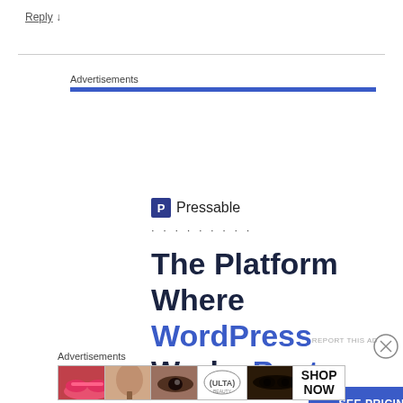Reply ↓
Advertisements
[Figure (illustration): Pressable advertisement: logo with 'P' icon and 'Pressable' text, dotted line, tagline 'The Platform Where WordPress Works Best' with a 'SEE PRICING' button]
REPORT THIS AD
Advertisements
[Figure (illustration): Ulta Beauty banner advertisement showing cosmetic/makeup imagery with 'SHOP NOW' call to action]